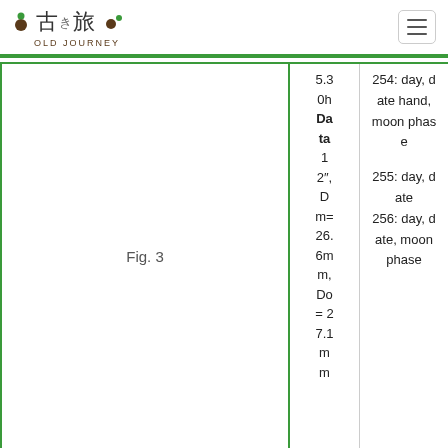古き旅 OLD JOURNEY
Fig. 3
|  |  |
| --- | --- |
| 5.3 0h Data | 254: date hand, moon phase |
| 1 2", Dm= 26.6mm, Do= 27.1mm | 255: day, date
256: day, date, moon phase |